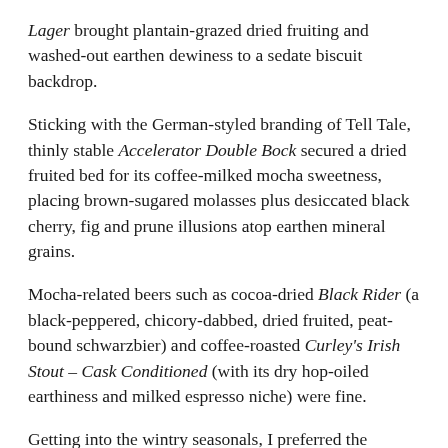Lager brought plantain-grazed dried fruiting and washed-out earthen dewiness to a sedate biscuit backdrop.
Sticking with the German-styled branding of Tell Tale, thinly stable Accelerator Double Bock secured a dried fruited bed for its coffee-milked mocha sweetness, placing brown-sugared molasses plus desiccated black cherry, fig and prune illusions atop earthen mineral grains.
Mocha-related beers such as cocoa-dried Black Rider (a black-peppered, chicory-dabbed, dried fruited, peat-bound schwarzbier) and coffee-roasted Curley's Irish Stout – Cask Conditioned (with its dry hop-oiled earthiness and milked espresso niche) were fine.
Getting into the wintry seasonals, I preferred the whiskey-dried Winter Warmer, a Scottish wee heavy with sweet vanilla-chocolate malting and cherry-fig ripeness, over Yuletide-spiced White Christmas, where toasted rye breading